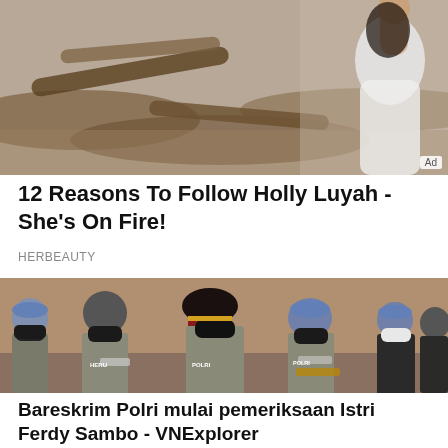[Figure (photo): Advertisement photo showing a woman in a white bodysuit posing near driftwood/logs outdoors. 'Ad' badge in bottom-right corner.]
12 Reasons To Follow Holly Luyah - She's On Fire!
HERBEAUTY
[Figure (photo): News photo showing a group of Indonesian police officers (POLRI) wearing uniforms and face masks, including officers named HERU and others with blue berets.]
Bareskrim Polri mulai pemeriksaan Istri Ferdy Sambo - VNExplorer